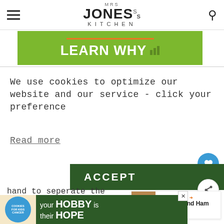MRS JONES's KITCHEN
[Figure (screenshot): Green advertisement banner with orange line and bold white text 'LEARN WHY' with bar graph icon]
We use cookies to optimize our website and our service - click your preference
Read more
hand to seperate the layers and get all the grit out.
3. Tip them into a medium saucepan
[Figure (screenshot): What's Next promo box with image of Chicken and Ham Pie and orange arrow label]
[Figure (screenshot): Bottom ad banner: cookies for kids cancer - your HOBBY is their HOPE on dark green background]